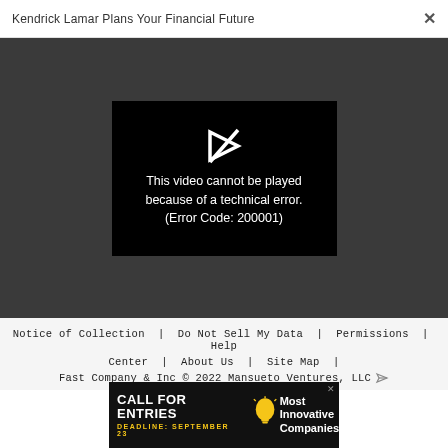Kendrick Lamar Plans Your Financial Future
[Figure (screenshot): Video player showing error message: 'This video cannot be played because of a technical error. (Error Code: 200001)' on black background within a dark gray interface]
Notice of Collection | Do Not Sell My Data | Permissions | Help Center | About Us | Site Map | Fast Company & Inc © 2022 Mansueto Ventures, LLC
[Figure (infographic): Advertisement banner: CALL FOR ENTRIES - DEADLINE: SEPTEMBER 23 - Most Innovative Companies]